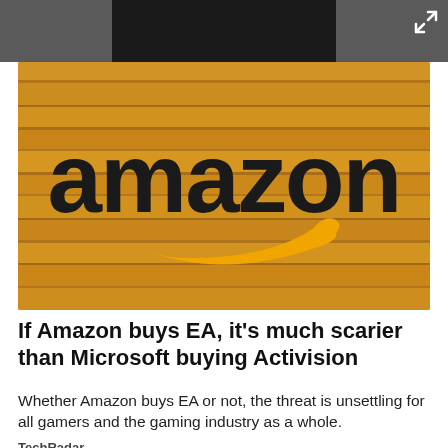[Figure (photo): Amazon logo sign on a wooden plank wall background, showing the word 'amazon' in large dark letters with the yellow smile/arrow logo beneath it]
If Amazon buys EA, it's much scarier than Microsoft buying Activision
Whether Amazon buys EA or not, the threat is unsettling for all gamers and the gaming industry as a whole.
TechRadar